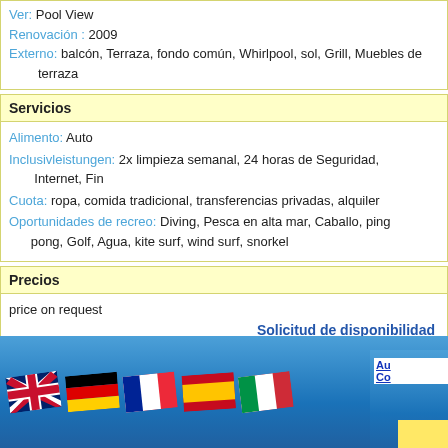Ver: Pool View
Renovación : 2009
Externo: balcón, Terraza, fondo común, Whirlpool, sol, Grill, Muebles de terraza
Servicios
Alimento: Auto
Inclusivleistungen: 2x limpieza semanal, 24 horas de Seguridad, Internet, Fin
Cuota: ropa, comida tradicional, transferencias privadas, alquiler
Oportunidades de recreo: Diving, Pesca en alta mar, Caballo, ping pong, Golf, Agua, kite surf, wind surf, snorkel
Precios
price on request
Solicitud de disponibilidad
[Figure (illustration): Footer bar with five waving flags (UK, Germany, France, Spain, Italy) on a blue gradient background, with partial text links on the right side]